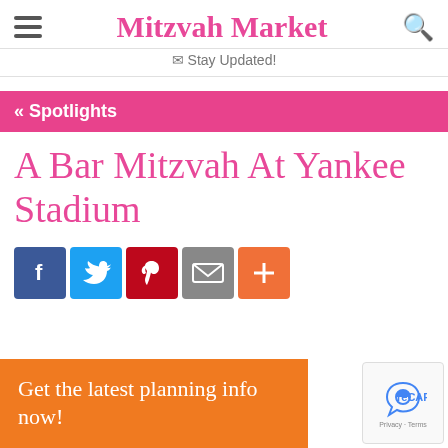Mitzvah Market
✉ Stay Updated!
« Spotlights
A Bar Mitzvah At Yankee Stadium
[Figure (infographic): Social share buttons: Facebook, Twitter, Pinterest, Email, More (+)]
Get the latest planning info now!